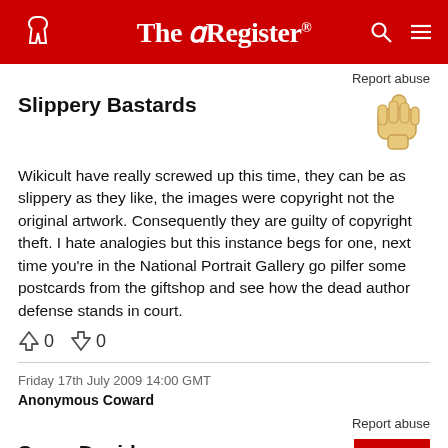The Register
Report abuse
Slippery Bastards
Wikicult have really screwed up this time, they can be as slippery as they like, the images were copyright not the original artwork. Consequently they are guilty of copyright theft. I hate analogies but this instance begs for one, next time you're in the National Portrait Gallery go pilfer some postcards from the giftshop and see how the dead author defense stands in court.
↑ 0  ↓ 0
Friday 17th July 2009 14:00 GMT
Anonymous Coward
Report abuse
Sorry David